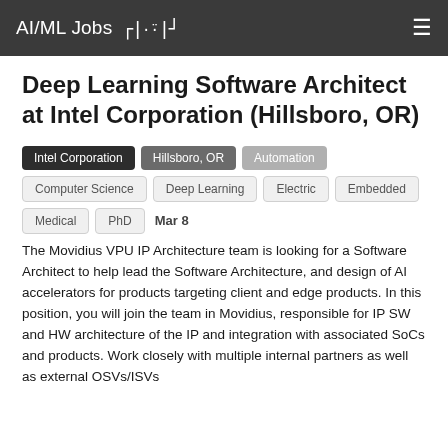AI/ML Jobs  ┌|·̀·́|┘
Deep Learning Software Architect at Intel Corporation (Hillsboro, OR)
Intel Corporation
Hillsboro, OR
Automation
Computer Science
Deep Learning
Electric
Embedded
Medical
PhD
Mar 8
The Movidius VPU IP Architecture team is looking for a Software Architect to help lead the Software Architecture, and design of AI accelerators for products targeting client and edge products. In this position, you will join the team in Movidius, responsible for IP SW and HW architecture of the IP and integration with associated SoCs and products. Work closely with multiple internal partners as well as external OSVs/ISVs